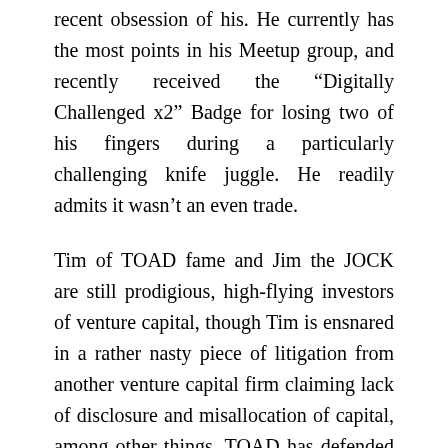recent obsession of his. He currently has the most points in his Meetup group, and recently received the “Digitally Challenged x2” Badge for losing two of his fingers during a particularly challenging knife juggle. He readily admits it wasn’t an even trade.
Tim of TOAD fame and Jim the JOCK are still prodigious, high-flying investors of venture capital, though Tim is ensnared in a rather nasty piece of litigation from another venture capital firm claiming lack of disclosure and misallocation of capital, among other things. TOAD has defended its reputation expertly, and entrepreneurs still line up, expecting TOAD to transmogrify their pitches into gold.